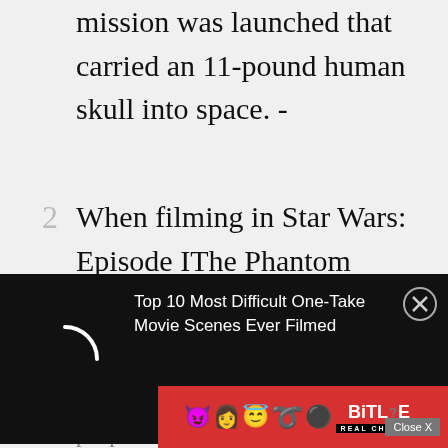mission was launched that carried an 11-pound human skull into space. -
2 When filming in Star Wars: Episode IThe Phantom Menace, Ewan McGregor kept imitating the noise of the light saber during his
[Figure (screenshot): Dark ad overlay banner showing a loading spinner arc on the left, text 'Top 10 Most Difficult One-Take Movie Scenes Ever Filmed' on the right with a close X button in top-right corner.]
people later on. Ewan kept saying
[Figure (screenshot): BitLife advertisement banner with emoji characters (devil, woman, angel) and logo text 'BITLIFE REAL CHOICES' on a red and black background.]